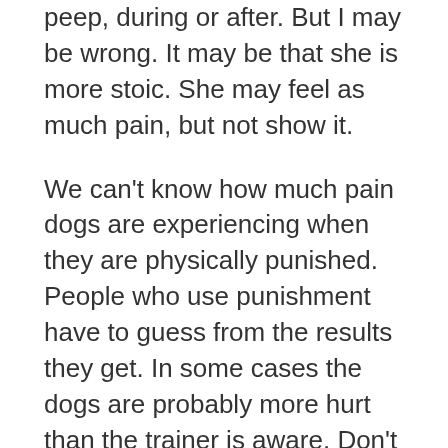peep, during or after. But I may be wrong. It may be that she is more stoic. She may feel as much pain, but not show it.
We can't know how much pain dogs are experiencing when they are physically punished. People who use punishment have to guess from the results they get. In some cases the dogs are probably more hurt than the trainer is aware. Don't forget: one of the possible types of fallout tied to the use of aversives is actually injuring the animal.
With reinforcement, we also have to guess from the results we get. Some dogs may not be as obvious as others when something delights them. But if my dog is happier than I